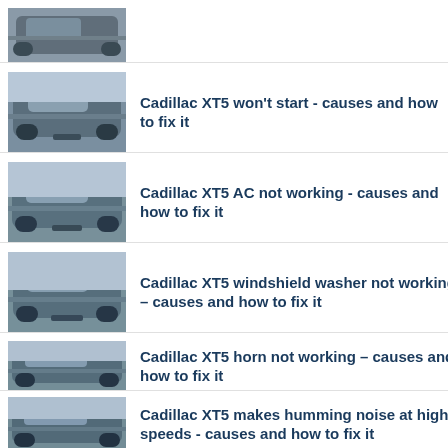[Figure (photo): Cadillac XT5 SUV front view, partially cropped at top]
Cadillac XT5 won't start - causes and how to fix it
Cadillac XT5 AC not working - causes and how to fix it
Cadillac XT5 windshield washer not working – causes and how to fix it
Cadillac XT5 horn not working – causes and how to fix it
Cadillac XT5 makes humming noise at high speeds - causes and how to fix it